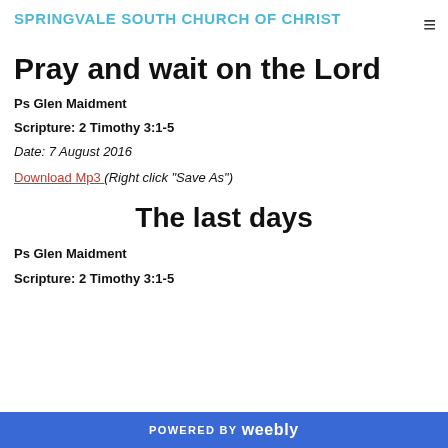SPRINGVALE SOUTH CHURCH OF CHRIST
Pray and wait on the Lord
Ps Glen Maidment
Scripture: 2 Timothy 3:1-5
Date: 7 August 2016
Download Mp3 (Right click "Save As")
The last days
Ps Glen Maidment
Scripture: 2 Timothy 3:1-5
POWERED BY weebly